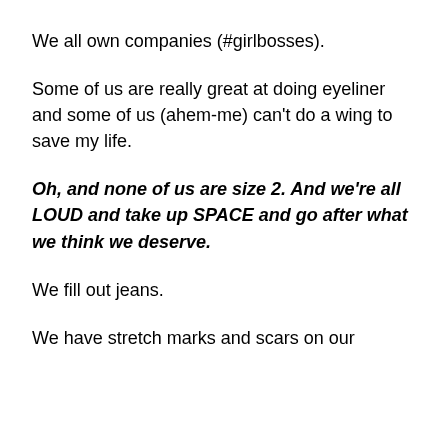We all own companies (#girlbosses).
Some of us are really great at doing eyeliner and some of us (ahem-me) can’t do a wing to save my life.
Oh, and none of us are size 2. And we’re all LOUD and take up SPACE and go after what we think we deserve.
We fill out jeans.
We have stretch marks and scars on our